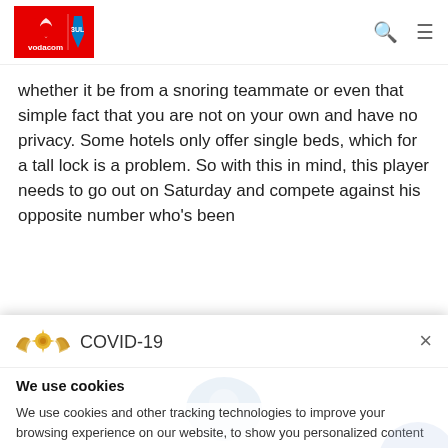[Figure (logo): Vodacom Bulls rugby team logo — red Vodacom section and blue Bulls section with shield]
whether it be from a snoring teammate or even that simple fact that you are not on your own and have no privacy. Some hotels only offer single beds, which for a tall lock is a problem. So with this in mind, this player needs to go out on Saturday and compete against his opposite number who's been
COVID-19
We use cookies
We use cookies and other tracking technologies to improve your browsing experience on our website, to show you personalized content and targeted ads, to analyze our website traffic, and to understand where our visitors are coming from.
I agree